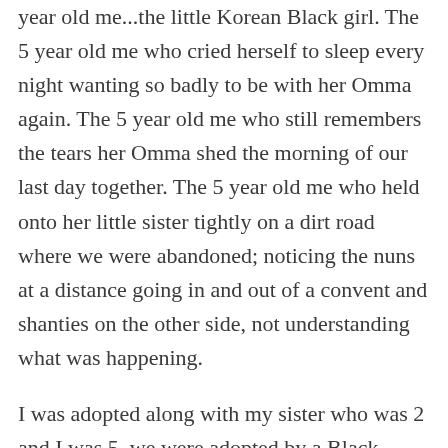year old me...the little Korean Black girl. The 5 year old me who cried herself to sleep every night wanting so badly to be with her Omma again. The 5 year old me who still remembers the tears her Omma shed the morning of our last day together. The 5 year old me who held onto her little sister tightly on a dirt road where we were abandoned; noticing the nuns at a distance going in and out of a convent and shanties on the other side, not understanding what was happening.
I was adopted along with my sister who was 2 and I was 5, we were adopted by a Black military